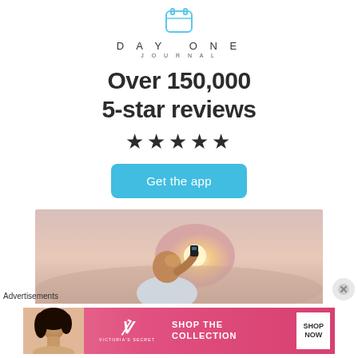[Figure (logo): Day One Journal app icon — blue rounded rectangle with calendar icon, plus the text DAY ONE / JOURNAL below]
Over 150,000 5-star reviews
★★★★★
[Figure (other): Blue rounded button reading 'Get the app']
[Figure (photo): Person seen from behind holding up a smartphone, photographing a sunset sky]
Advertisements
[Figure (other): Victoria's Secret advertisement banner with model, VS logo, text 'SHOP THE COLLECTION', and 'SHOP NOW' button]